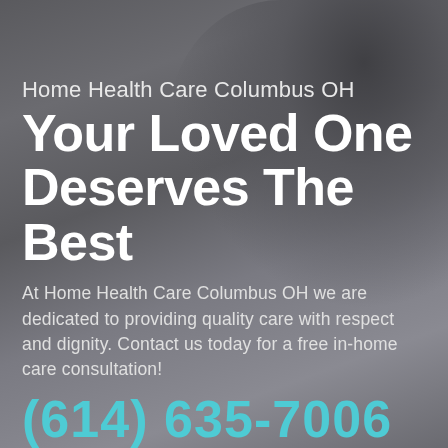[Figure (photo): Dark blurred background with a silhouetted person, likely a caregiver or patient, visible in the upper right. The overall tone is dark grey/charcoal, giving a moody, professional healthcare aesthetic.]
Home Health Care Columbus OH
Your Loved One Deserves The Best
At Home Health Care Columbus OH we are dedicated to providing quality care with respect and dignity. Contact us today for a free in-home care consultation!
(614) 635-7006